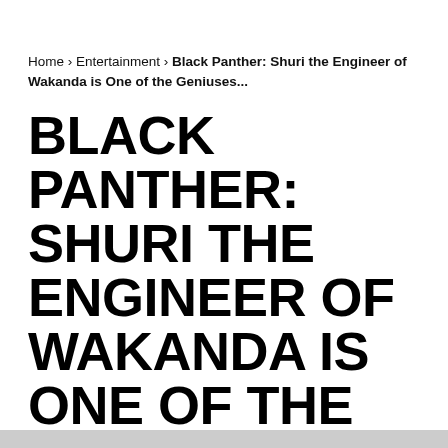Home › Entertainment › Black Panther: Shuri the Engineer of Wakanda is One of the Geniuses...
BLACK PANTHER: SHURI THE ENGINEER OF WAKANDA IS ONE OF THE GENIUSES OF MCU. READ THE CHARACTER REVIEW AND WHAT DOES HER FATE HOLD IN MARVEL COMICS